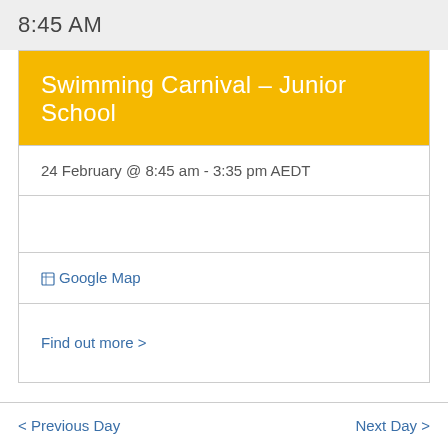8:45 AM
Swimming Carnival – Junior School
24 February @ 8:45 am - 3:35 pm AEDT
Google Map
Find out more >
< Previous Day   Next Day >